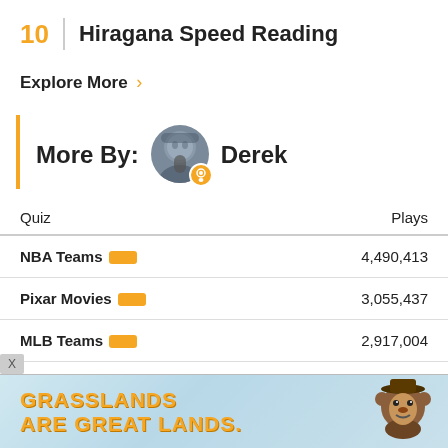10  Hiragana Speed Reading
Explore More ›
More By: Derek
| Quiz | Plays |
| --- | --- |
| NBA Teams | 4,490,413 |
| Pixar Movies | 3,055,437 |
| MLB Teams | 2,917,004 |
| : Logos | 2,744,809 |
[Figure (infographic): Advertisement banner: GRASSLANDS ARE GREAT LANDS with Smokey Bear mascot illustration]